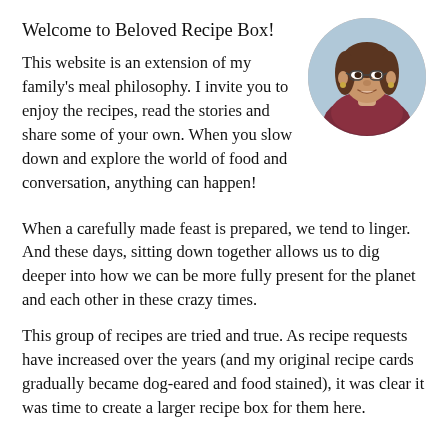Welcome to Beloved Recipe Box!
[Figure (photo): Circular portrait photo of a middle-aged woman with glasses and brown hair, wearing a patterned top, smiling, in what appears to be a kitchen or store setting.]
This website is an extension of my family's meal philosophy. I invite you to enjoy the recipes, read the stories and share some of your own. When you slow down and explore the world of food and conversation, anything can happen!
When a carefully made feast is prepared, we tend to linger. And these days, sitting down together allows us to dig deeper into how we can be more fully present for the planet and each other in these crazy times.
This group of recipes are tried and true. As recipe requests have increased over the years (and my original recipe cards gradually became dog-eared and food stained), it was clear it was time to create a larger recipe box for them here.